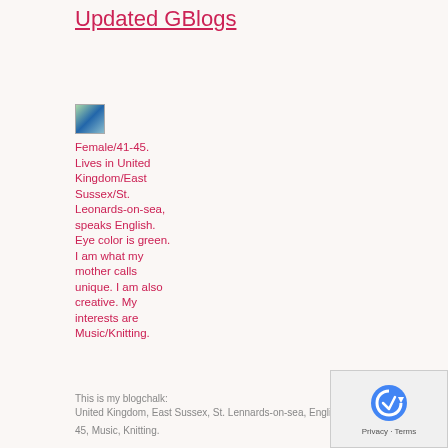Updated GBlogs
[Figure (photo): Small thumbnail image of Lou, showing a landscape with green and blue tones]
Female/41-45. Lives in United Kingdom/East Sussex/St. Leonards-on-sea, speaks English. Eye color is green. I am what my mother calls unique. I am also creative. My interests are Music/Knitting.
This is my blogchalk:
United Kingdom, East Sussex, St. Lennards-on-sea, English, Lou, Female, 41-45, Music, Knitting.
[Figure (other): reCAPTCHA widget with Privacy and Terms links]